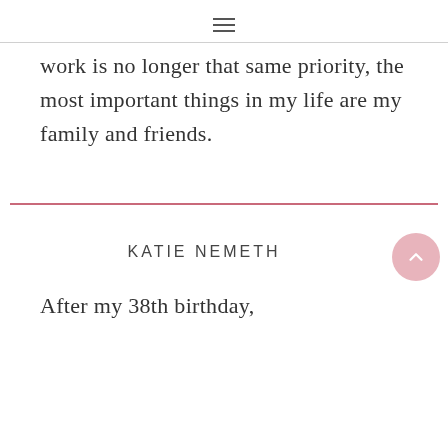≡
work is no longer that same priority, the most important things in my life are my family and friends.
KATIE NEMETH
After my 38th birthday,